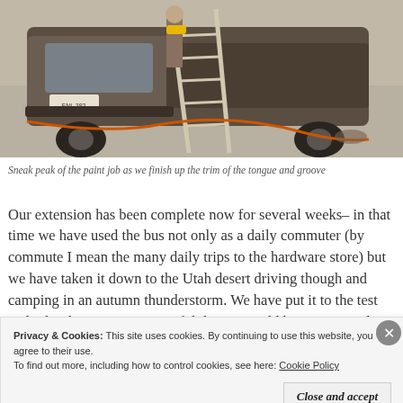[Figure (photo): Photo of a truck with a ladder and orange hose/cord on a driveway, showing a paint job in progress on tongue and groove trim.]
Sneak peak of the paint job as we finish up the trim of the tongue and groove
Our extension has been complete now for several weeks– in that time we have used the bus not only as a daily commuter (by commute I mean the many daily trips to the hardware store) but we have taken it down to the Utah desert driving though and camping in an autumn thunderstorm. We have put it to the test and it has been more successful that we could have imagined.
Privacy & Cookies: This site uses cookies. By continuing to use this website, you agree to their use.
To find out more, including how to control cookies, see here: Cookie Policy
Close and accept